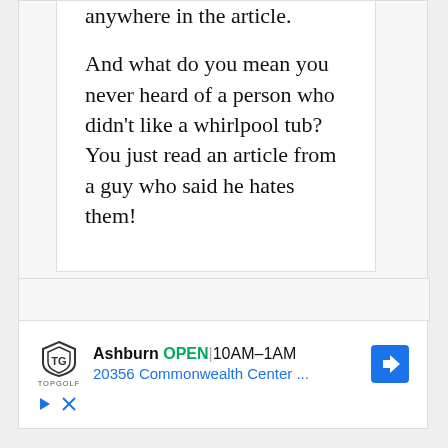anywhere in the article.
And what do you mean you never heard of a person who didn't like a whirlpool tub? You just read an article from a guy who said he hates them!
[Figure (infographic): Topgolf advertisement showing Ashburn location OPEN 10AM-1AM, 20356 Commonwealth Center ..., with navigation arrow icon and play/close controls]